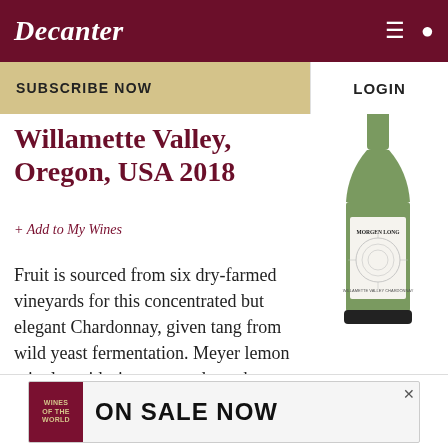Decanter
SUBSCRIBE NOW
LOGIN
Willamette Valley, Oregon, USA 2018
+ Add to My Wines
[Figure (photo): Green wine bottle with label reading MORGEN LONG, Willamette Valley Chardonnay]
Fruit is sourced from six dry-farmed vineyards for this concentrated but elegant Chardonnay, given tang from wild yeast fermentation. Meyer lemon mingles with ripe pear and peach on t...
ON SALE NOW